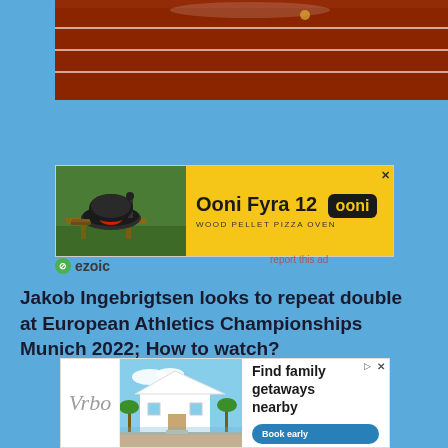[Figure (photo): Top portion of a running track with red/maroon surface and white lane lines visible]
[Figure (other): Advertisement for Ooni Fyra 12 Wood Pellet Pizza Oven on yellow background with pizza oven image and Ooni logo]
ezoic
report this ad
Jakob Ingebrigtsen looks to repeat double at European Athletics Championships Munich 2022; How to watch?
[Figure (other): Advertisement for Vrbo showing a beach house vacation rental with 'Find family getaways nearby' text and Book early button]